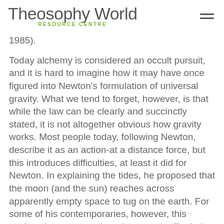Theosophy World RESOURCE CENTRE
1985).
Today alchemy is considered an occult pursuit, and it is hard to imagine how it may have once figured into Newton's formulation of universal gravity. What we tend to forget, however, is that while the law can be clearly and succinctly stated, it is not altogether obvious how gravity works. Most people today, following Newton, describe it as an action-at a distance force, but this introduces difficulties, at least it did for Newton. In explaining the tides, he proposed that the moon (and the sun) reaches across apparently empty space to tug on the earth. For some of his contemporaries, however, this explanation went nowhere because it afforded